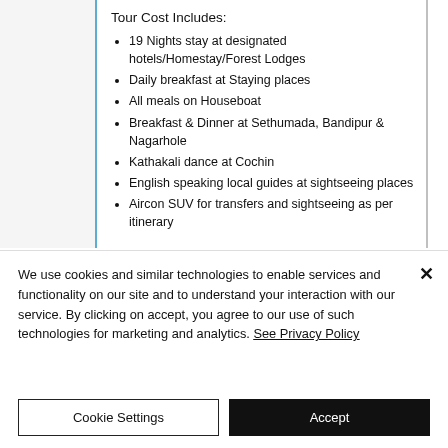Tour Cost Includes:
19 Nights stay at designated hotels/Homestay/Forest Lodges
Daily breakfast at Staying places
All meals on Houseboat
Breakfast & Dinner at Sethumada, Bandipur & Nagarhole
Kathakali dance at Cochin
English speaking local guides at sightseeing places
Aircon SUV for transfers and sightseeing as per itinerary
We use cookies and similar technologies to enable services and functionality on our site and to understand your interaction with our service. By clicking on accept, you agree to our use of such technologies for marketing and analytics. See Privacy Policy
Cookie Settings
Accept